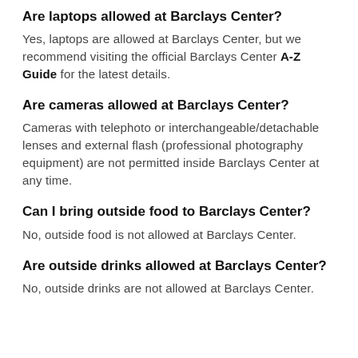Are laptops allowed at Barclays Center?
Yes, laptops are allowed at Barclays Center, but we recommend visiting the official Barclays Center A-Z Guide for the latest details.
Are cameras allowed at Barclays Center?
Cameras with telephoto or interchangeable/detachable lenses and external flash (professional photography equipment) are not permitted inside Barclays Center at any time.
Can I bring outside food to Barclays Center?
No, outside food is not allowed at Barclays Center.
Are outside drinks allowed at Barclays Center?
No, outside drinks are not allowed at Barclays Center.